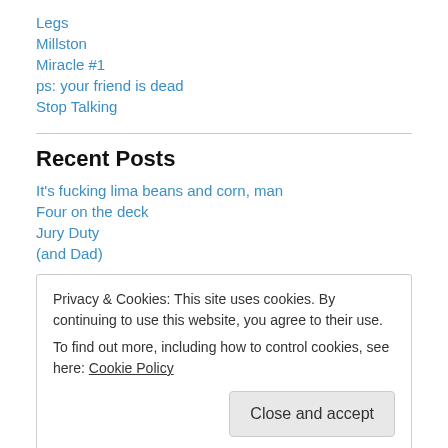Legs
Millston
Miracle #1
ps: your friend is dead
Stop Talking
Recent Posts
It's fucking lima beans and corn, man
Four on the deck
Jury Duty
(and Dad)
Privacy & Cookies: This site uses cookies. By continuing to use this website, you agree to their use.
To find out more, including how to control cookies, see here: Cookie Policy
Close and accept